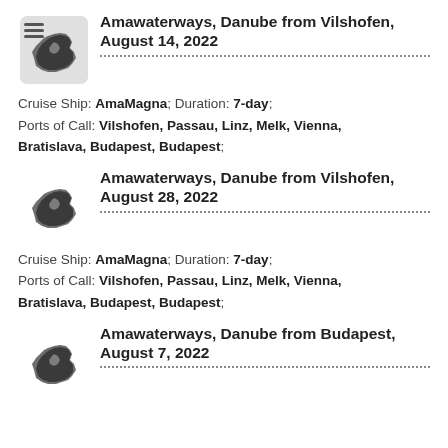[Figure (illustration): Europe map icon with menu/hamburger overlay, grayscale]
Amawaterways, Danube from Vilshofen, August 14, 2022
Cruise Ship: AmaMagna; Duration: 7-day; Ports of Call: Vilshofen, Passau, Linz, Melk, Vienna, Bratislava, Budapest, Budapest;
[Figure (illustration): Europe map icon, grayscale]
Amawaterways, Danube from Vilshofen, August 28, 2022
Cruise Ship: AmaMagna; Duration: 7-day; Ports of Call: Vilshofen, Passau, Linz, Melk, Vienna, Bratislava, Budapest, Budapest;
[Figure (illustration): Europe map icon, grayscale]
Amawaterways, Danube from Budapest, August 7, 2022